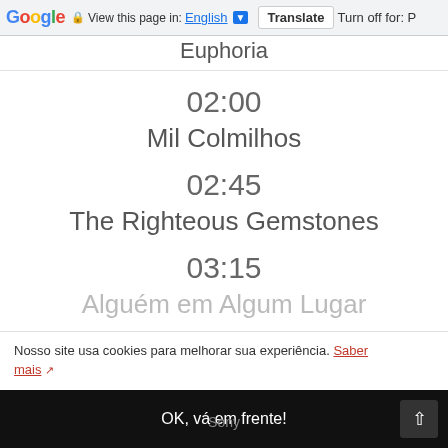Google | View this page in: English [▼] | Translate | Turn off for: P
Euphoria
02:00
Mil Colmilhos
02:45
The Righteous Gemstones
03:15
Alguém em Algum Lugar
Nosso site usa cookies para melhorar sua experiência. Saber mais ↗
OK, vá em frente!
Sony